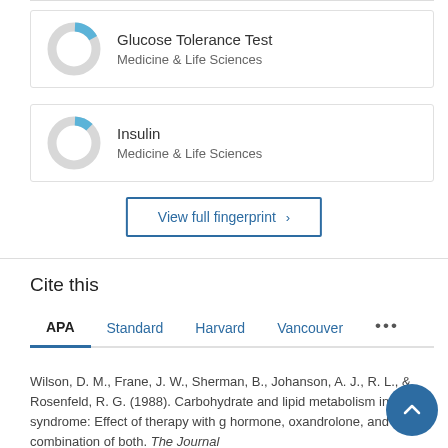[Figure (donut-chart): Small donut chart with a blue segment, representing a fingerprint keyword 'Glucose Tolerance Test']
Glucose Tolerance Test
Medicine & Life Sciences
[Figure (donut-chart): Small donut chart with a blue segment, representing a fingerprint keyword 'Insulin']
Insulin
Medicine & Life Sciences
View full fingerprint ›
Cite this
APA   Standard   Harvard   Vancouver   ···
Wilson, D. M., Frane, J. W., Sherman, B., Johanson, A. J., … R. L., & Rosenfeld, R. G. (1988). Carbohydrate and lipid metabolism in Turner syndrome: Effect of therapy with g… hormone, oxandrolone, and a combination of both. The Journal …